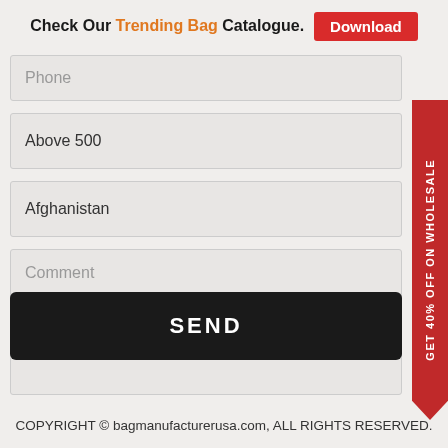Check Our Trending Bag Catalogue. Download
Phone
Above 500
Afghanistan
Comment
SEND
COPYRIGHT © bagmanufacturerusa.com, ALL RIGHTS RESERVED.